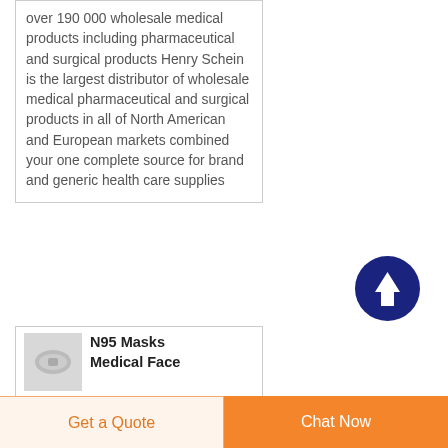over 190 000 wholesale medical products including pharmaceutical and surgical products Henry Schein is the largest distributor of wholesale medical pharmaceutical and surgical products in all of North American and European markets combined your one complete source for brand and generic health care supplies
[Figure (illustration): Dark blue circular button with a white upward-pointing arrow icon, used as a scroll-to-top button]
[Figure (photo): Small product thumbnail image showing an N95 mask or similar white medical mask]
N95 Masks Medical Face Masks Earloop Face Mask
Get a Quote  |  Chat Now